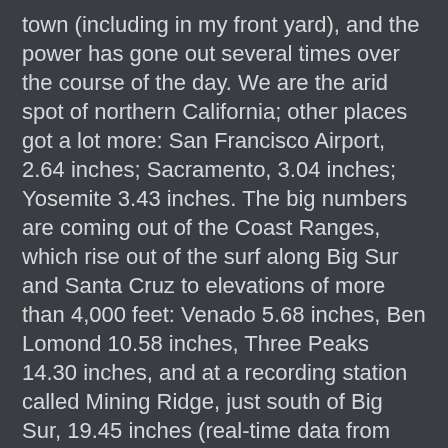town (including in my front yard), and the power has gone out several times over the course of the day. We are the arid spot of northern California; other places got a lot more: San Francisco Airport, 2.64 inches; Sacramento, 3.04 inches; Yosemite 3.43 inches. The big numbers are coming out of the Coast Ranges, which rise out of the surf along Big Sur and Santa Cruz to elevations of more than 4,000 feet: Venado 5.68 inches, Ben Lomond 10.58 inches, Three Peaks 14.30 inches, and at a recording station called Mining Ridge, just south of Big Sur, 19.45 inches (real-time data from the California Department of Water Resources Rainfall Maps)! I can barely imagine this kind of water coming from the sky.
It's probably a good moment to mention that a single day of incredible storminess is not "climate", it's "weather". Climate refers to the long-term pattern of precipitation and temperature that defines a region. A single storm does not have a direct bearing on our understanding of the nature and pace of climate change, but a pattern of increasing intensity or frequency over a period of years will shed some light on the issue. Especially if it has been predicted by climate